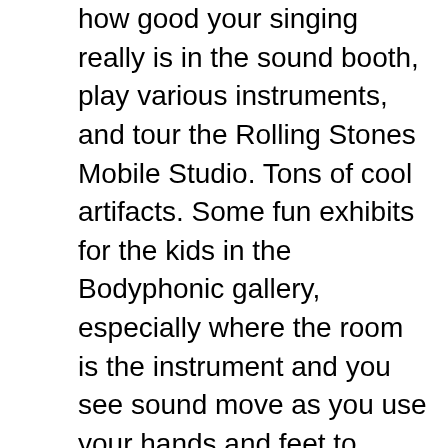how good your singing really is in the sound booth, play various instruments, and tour the Rolling Stones Mobile Studio. Tons of cool artifacts. Some fun exhibits for the kids in the Bodyphonic gallery, especially where the room is the instrument and you see sound move as you use your hands and feet to control the tone. The kids love this one. (700m).
Devonian Gardens – The top level of CORE shopping center is home to Devonian Gardens, a large and popular indoor botanical garden with a children's play area. (700m).
Prince's Island Park – Beautiful and...